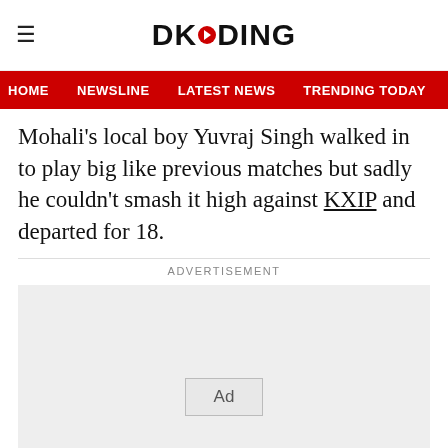DKODING
HOME   NEWSLINE   LATEST NEWS   TRENDING TODAY   ENT
Mohali’s local boy Yuvraj Singh walked in to play big like previous matches but sadly he couldn’t smash it high against KXIP and departed for 18.
ADVERTISEMENT
[Figure (other): Advertisement placeholder box with 'Ad' label]